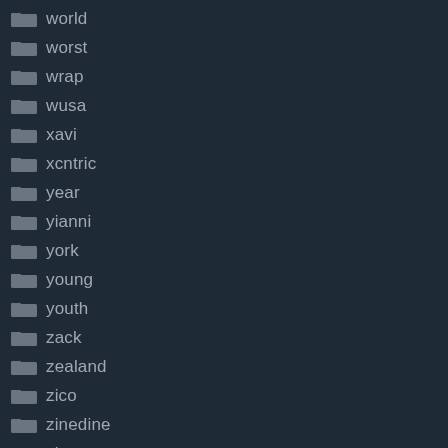world
worst
wrap
wusa
xavi
xcntric
year
yianni
york
young
youth
zack
zealand
zico
zinedine
zion
zlatan
zola